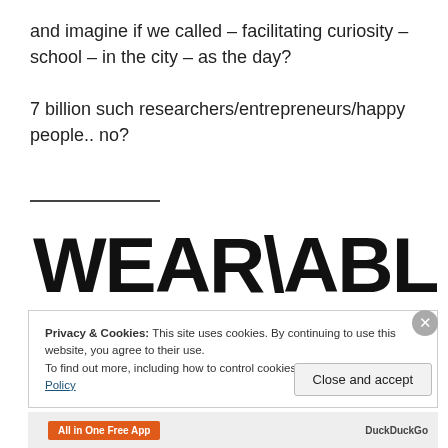and imagine if we called – facilitating curiosity – school – in the city – as the day?
7 billion such researchers/entrepreneurs/happy people.. no?
[Figure (illustration): Hand-drawn bold text reading WEAR\ABLE\NESS in large black block letters]
Privacy & Cookies: This site uses cookies. By continuing to use this website, you agree to their use. To find out more, including how to control cookies, see here: Cookie Policy
Close and accept